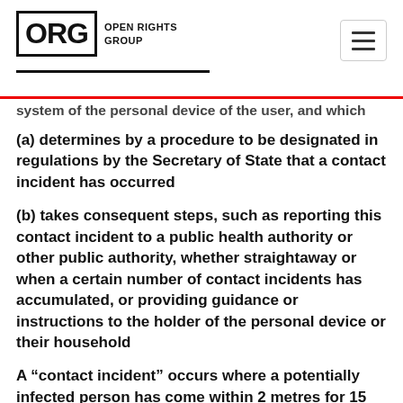ORG OPEN RIGHTS GROUP
system of the personal device of the user, and which
(a) determines by a procedure to be designated in regulations by the Secretary of State that a contact incident has occurred
(b) takes consequent steps, such as reporting this contact incident to a public health authority or other public authority, whether straightaway or when a certain number of contact incidents has accumulated, or providing guidance or instructions to the holder of the personal device or their household
A “contact incident” occurs where a potentially infected person has come within 2 metres for 15 minutes or more of another living person (the